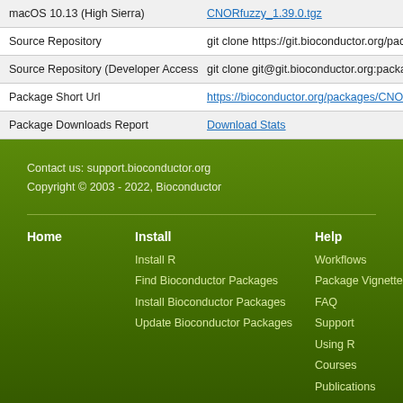| macOS 10.13 (High Sierra) | CNORfuzzy_1.39.0.tgz |
| Source Repository | git clone https://git.bioconductor.org/packages/ |
| Source Repository (Developer Access) | git clone git@git.bioconductor.org:packages/C |
| Package Short Url | https://bioconductor.org/packages/CNORfuzz |
| Package Downloads Report | Download Stats |
Contact us: support.bioconductor.org
Copyright © 2003 - 2022, Bioconductor
Home
Install
Install R
Find Bioconductor Packages
Install Bioconductor Packages
Update Bioconductor Packages
Help
Workflows
Package Vignettes
FAQ
Support
Using R
Courses
Publications
Docker Images
Bioc in AnVIL
Community Resources